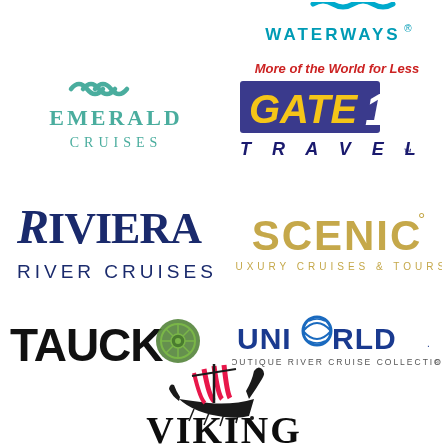[Figure (logo): Avalon Waterways logo - partially visible at top right, teal wave icon with WATERWAYS text]
[Figure (logo): Emerald Cruises logo - teal wave icon with EMERALD CRUISES text]
[Figure (logo): Gate 1 Travel logo - More of the World for Less tagline with yellow GATE1 on blue background and TRAVEL text]
[Figure (logo): Riviera River Cruises logo - dark navy serif text]
[Figure (logo): Scenic Luxury Cruises and Tours logo - gold text]
[Figure (logo): Tauck logo - black text with green compass rose wheel emblem]
[Figure (logo): Uniworld Boutique River Cruise Collection logo - blue text with globe O]
[Figure (logo): Viking logo - Viking ship illustration in crimson/pink with VIKING text in black]